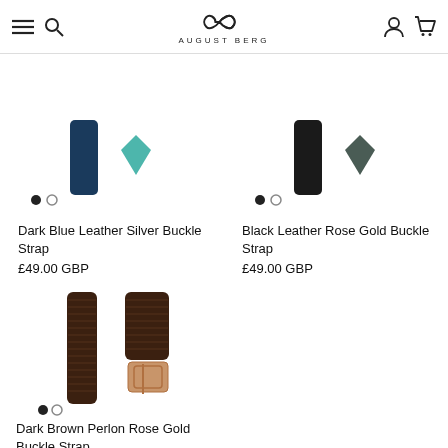AUGUST BERG
[Figure (photo): Dark blue leather watch strap with silver buckle, partially visible at top with color swatch indicator dots]
Dark Blue Leather Silver Buckle Strap
£49.00 GBP
[Figure (photo): Black leather watch strap with rose gold buckle, partially visible at top with color swatch indicator dots]
Black Leather Rose Gold Buckle Strap
£49.00 GBP
[Figure (photo): Dark brown perlon woven watch strap with rose gold buckle, full product shot]
Dark Brown Perlon Rose Gold Buckle Strap
£49.00 GBP